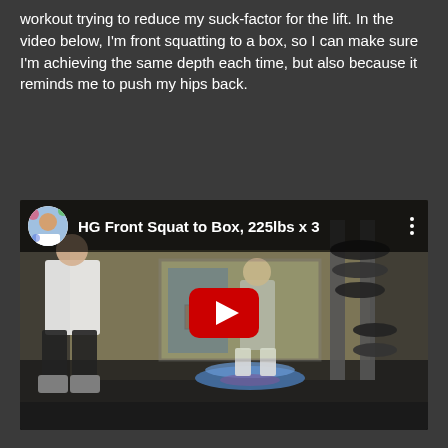workout trying to reduce my suck-factor for the lift. In the video below, I'm front squatting to a box, so I can make sure I'm achieving the same depth each time, but also because it reminds me to push my hips back.
[Figure (screenshot): YouTube video embed showing a gym scene with a person standing near weight rack equipment. Video title reads 'HG Front Squat to Box, 225lbs x 3'. There is a red YouTube play button in the center of the video.]